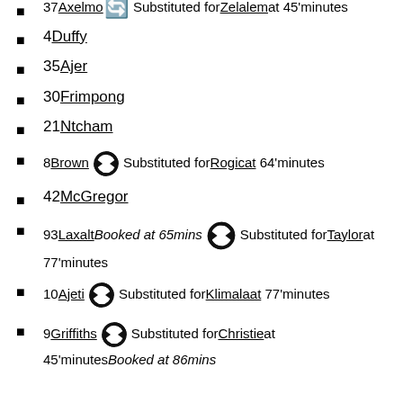37 Axelsen [sub icon] Substituted for Zelalem at 45'minutes
4 Duffy
35 Ajer
30 Frimpong
21 Ntcham
8 Brown [sub icon] Substituted for Rogicat 64'minutes
42 McGregor
93 Laxalt Booked at 65mins [sub icon] Substituted for Taylor at 77'minutes
10 Ajeti [sub icon] Substituted for Klimalaat 77'minutes
9 Griffiths [sub icon] Substituted for Christie at 45'minutes Booked at 86mins